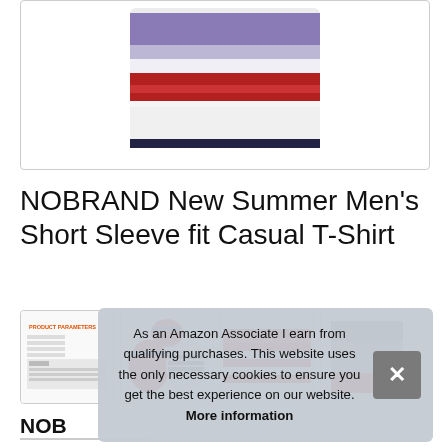[Figure (photo): Bottom portion of a white t-shirt with purple and red horizontal stripes, shown on white background inside a bordered box.]
NOBRAND New Summer Men's Short Sleeve fit Casual T-Shirt
[Figure (photo): Thumbnail showing product parameters table]
[Figure (photo): Thumbnail showing multiple t-shirt color variants laid flat]
[Figure (photo): Thumbnail showing red and white striped t-shirt]
[Figure (photo): Thumbnail showing grey t-shirt variant]
As an Amazon Associate I earn from qualifying purchases. This website uses the only necessary cookies to ensure you get the best experience on our website. More information
NOB